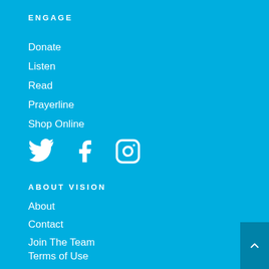ENGAGE
Donate
Listen
Read
Prayerline
Shop Online
[Figure (illustration): Social media icons: Twitter, Facebook, Instagram]
ABOUT VISION
About
Contact
Join The Team
Terms of Use
Privacy Policy
Other Policies